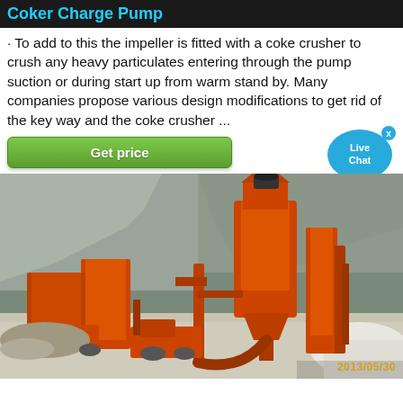Coker Charge Pump
· To add to this the impeller is fitted with a coke crusher to crush any heavy particulates entering through the pump suction or during start up from warm stand by. Many companies propose various design modifications to get rid of the key way and the coke crusher ...
[Figure (photo): Industrial orange-painted heavy machinery (crusher or mill) installed at a quarry or mining site, with rocky cliff face in background. Photo dated 2013/05/30.]